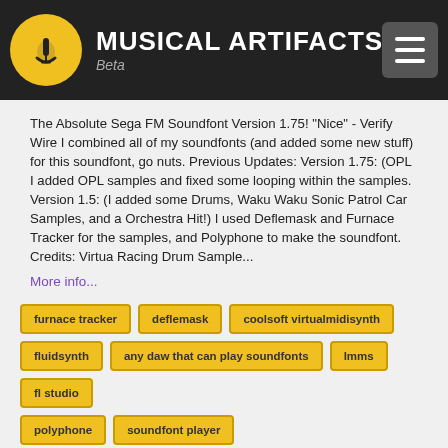MUSICAL ARTIFACTS Beta
The Absolute Sega FM Soundfont Version 1.75! "Nice" - Verify Wire I combined all of my soundfonts (and added some new stuff) for this soundfont, go nuts. Previous Updates: Version 1.75: (OPL I added OPL samples and fixed some looping within the samples. Version 1.5: (I added some Drums, Waku Waku Sonic Patrol Car Samples, and a Orchestra Hit!) I used Deflemask and Furnace Tracker for the samples, and Polyphone to make the soundfont. Credits: Virtua Racing Drum Sample...
More info...
furnace tracker
deflemask
coolsoft virtualmidisynth
fluidsynth
any daw that can play soundfonts
lmms
fl studio
polyphone
soundfont player
jojo witstar
the absolute sega fm soundfont
sonic
john tay
soundfont
yamaha
fm
yamaha fm
ym2151
ym2162
furnace
furnace tracker
deflemask presets
deflemask